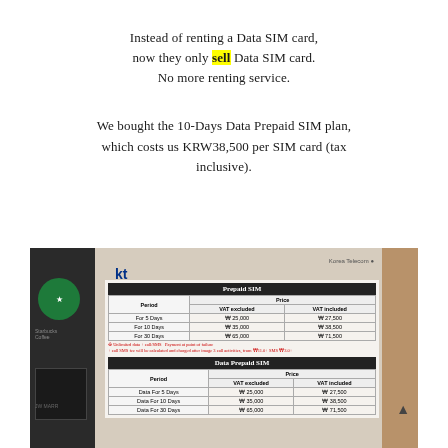Instead of renting a Data SIM card, now they only sell Data SIM card. No more renting service.
We bought the 10-Days Data Prepaid SIM plan, which costs us KRW38,500 per SIM card (tax inclusive).
[Figure (photo): Photo of KT Korea Telecom pricing board showing Prepaid SIM and Data Prepaid SIM plans with prices in Korean Won (VAT excluded and VAT included), alongside a Starbucks storefront visible on the left side of the image.]